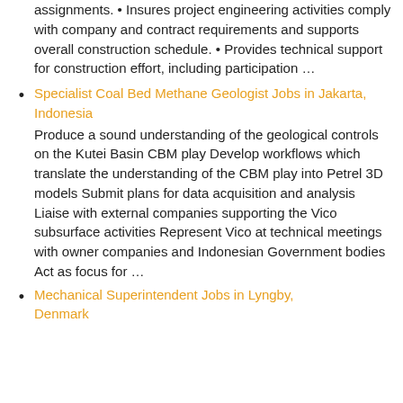assignments. • Insures project engineering activities comply with company and contract requirements and supports overall construction schedule. • Provides technical support for construction effort, including participation …
Specialist Coal Bed Methane Geologist Jobs in Jakarta, Indonesia — Produce a sound understanding of the geological controls on the Kutei Basin CBM play Develop workflows which translate the understanding of the CBM play into Petrel 3D models Submit plans for data acquisition and analysis Liaise with external companies supporting the Vico subsurface activities Represent Vico at technical meetings with owner companies and Indonesian Government bodies Act as focus for …
Mechanical Superintendent Jobs in Lyngby, Denmark